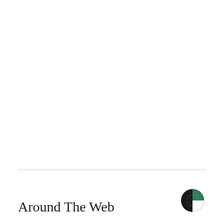Around The Web
[Figure (logo): Circular logo mark with black left half and green top-right quadrant, white bottom-right quadrant cutout]